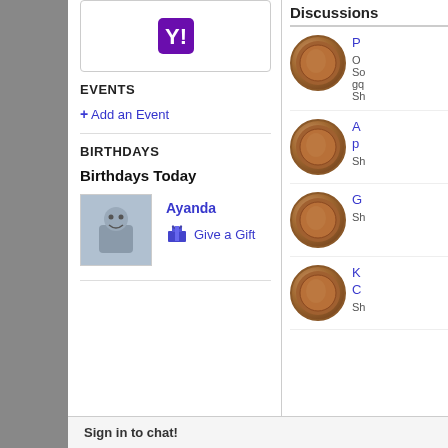[Figure (logo): Yahoo logo icon in purple]
EVENTS
+ Add an Event
BIRTHDAYS
Birthdays Today
[Figure (photo): Birthday person avatar photo]
Ayanda
Give a Gift
Discussions
[Figure (photo): Coin image 1 for discussion item P]
P
O
So
gq
Sh
[Figure (photo): Coin image 2 for discussion item A/p]
A
p
Sh
[Figure (photo): Coin image 3 for discussion item G]
G
Sh
[Figure (photo): Coin image 4 for discussion item K/C]
K
C
Sh
Sign in to chat!